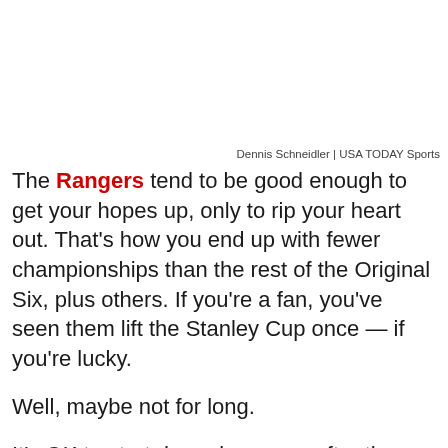Dennis Schneidler | USA TODAY Sports
The Rangers tend to be good enough to get your hopes up, only to rip your heart out. That's how you end up with fewer championships than the rest of the Original Six, plus others. If you're a fan, you've seen them lift the Stanley Cup once — if you're lucky.
Well, maybe not for long.
It's OK to start dreaming, even after the Lightning got back into the series Sunday in Game 3. The Rangers